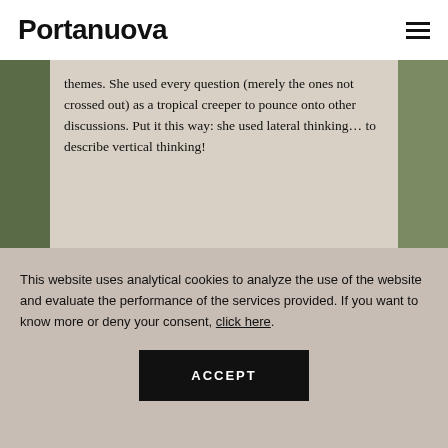Portanuova
themes. She used every question (merely the ones not crossed out) as a tropical creeper to pounce onto other discussions. Put it this way: she used lateral thinking... to describe vertical thinking!
This website uses analytical cookies to analyze the use of the website and evaluate the performance of the services provided. If you want to know more or deny your consent, click here.
ACCEPT